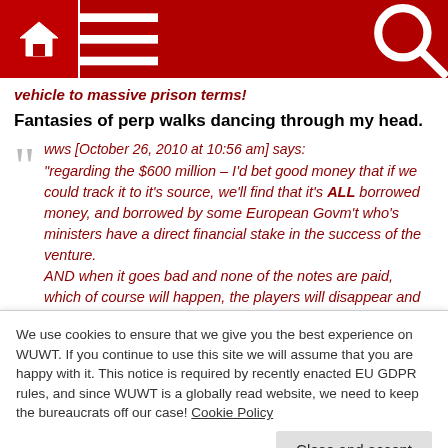[Figure (screenshot): Red navigation bar with home icon, hamburger menu icon, and search icon]
vehicle to massive prison terms!
Fantasies of perp walks dancing through my head.
wws [October 26, 2010 at 10:56 am] says: "regarding the $600 million – I'd bet good money that if we could track it to it's source, we'll find that it's ALL borrowed money, and borrowed by some European Govm't who's ministers have a direct financial stake in the success of the venture. AND when it goes bad and none of the notes are paid, which of course will happen, the players will disappear and keep
We use cookies to ensure that we give you the best experience on WUWT. If you continue to use this site we will assume that you are happy with it. This notice is required by recently enacted EU GDPR rules, and since WUWT is a globally read website, we need to keep the bureaucrats off our case! Cookie Policy
Close and accept
Greece fleece and raised retirement age the words Powder